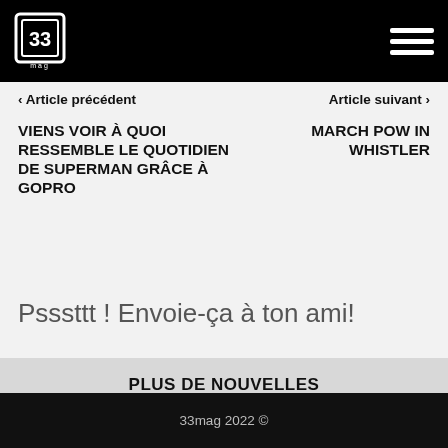33mag logo | hamburger menu
< Article précédent    Article suivant >
VIENS VOIR À QUOI RESSEMBLE LE QUOTIDIEN DE SUPERMAN GRÂCE À GOPRO
MARCH POW IN WHISTLER
Psssttt ! Envoie-ça à ton ami!
PLUS DE NOUVELLES
33mag 2022 ©